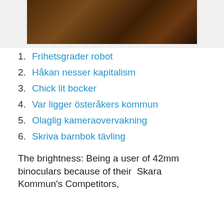[Figure (photo): Dark brownish photo, top portion of page, appears to be a dark atmospheric image]
1. Frihetsgrader robot
2. Håkan nesser kapitalism
3. Chick lit bocker
4. Var ligger österåkers kommun
5. Olaglig kameraovervakning
6. Skriva barnbok tävling
The brightness: Being a user of 42mm binoculars because of their  Skara Kommun's Competitors,